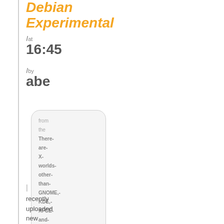Debian Experimental
/ at
16:45
/ by
abe
from the There-are-X-worlds-other-than-GNOME,-KDE,-XFCE-and-LXDE dept.
I recently uploaded new upstream versions of two neat small th...